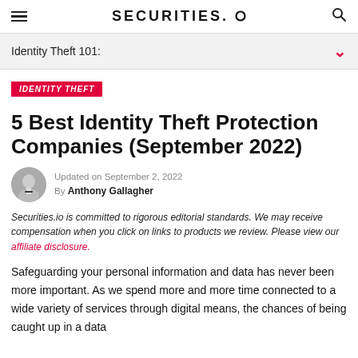SECURITIES.IO
Identity Theft 101:
IDENTITY THEFT
5 Best Identity Theft Protection Companies (September 2022)
Updated on September 2, 2022
By Anthony Gallagher
Securities.io is committed to rigorous editorial standards. We may receive compensation when you click on links to products we review. Please view our affiliate disclosure.
Safeguarding your personal information and data has never been more important. As we spend more and more time connected to a wide variety of services through digital means, the chances of being caught up in a data